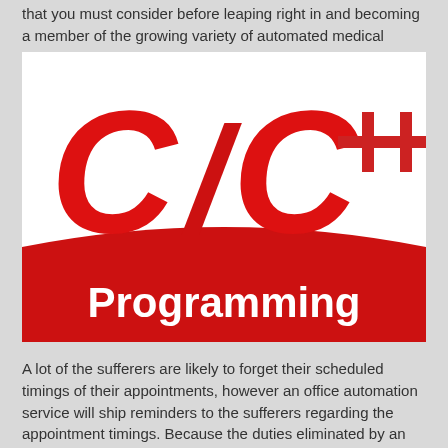that you must consider before leaping right in and becoming a member of the growing variety of automated medical clinics.
[Figure (illustration): C/C++ Programming logo — large red 3D letters 'C/C++' on white background with a red curved banner at the bottom containing white text 'Programming']
A lot of the sufferers are likely to forget their scheduled timings of their appointments, however an office automation service will ship reminders to the sufferers regarding the appointment timings. Because the duties eliminated by an electronic patent file management system are repetitive and routine, these savings are